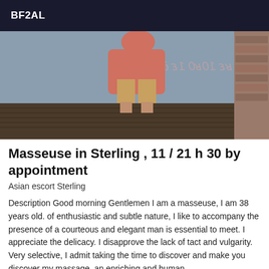BF2AL
[Figure (photo): Photo of a person in a red/orange top and short skirt, viewed from behind/side, standing on a wooden deck near a wall with faded text markings. Brick wall visible on the right.]
Masseuse in Sterling , 11 / 21 h 30 by appointment
Asian escort Sterling
Description Good morning Gentlemen I am a masseuse, I am 38 years old. of enthusiastic and subtle nature, I like to accompany the presence of a courteous and elegant man is essential to meet. I appreciate the delicacy. I disapprove the lack of tact and vulgarity. Very selective, I admit taking the time to discover and make you discover my massage. an enriching and human